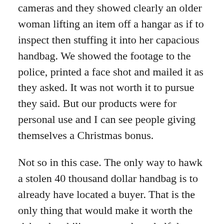cameras and they showed clearly an older woman lifting an item off a hangar as if to inspect then stuffing it into her capacious handbag. We showed the footage to the police, printed a face shot and mailed it as they asked. It was not worth it to pursue they said. But our products were for personal use and I can see people giving themselves a Christmas bonus.
Not so in this case. The only way to hawk a stolen 40 thousand dollar handbag is to already have located a buyer. That is the only thing that would make it worth the risk – the ability to get at least half the price.  So whether it is an inside job where the guards look the other way, or it is a professional thief paid for their services it is a case of the rich taking care of the rich.
Chanel gets a write-off, a saleswoman gets a bonus, a